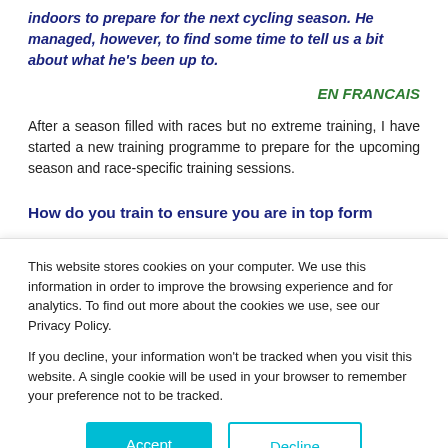indoors to prepare for the next cycling season. He managed, however, to find some time to tell us a bit about what he's been up to.
EN FRANCAIS
After a season filled with races but no extreme training, I have started a new training programme to prepare for the upcoming season and race-specific training sessions.
How do you train to ensure you are in top form
This website stores cookies on your computer. We use this information in order to improve the browsing experience and for analytics. To find out more about the cookies we use, see our Privacy Policy.

If you decline, your information won't be tracked when you visit this website. A single cookie will be used in your browser to remember your preference not to be tracked.
Accept
Decline